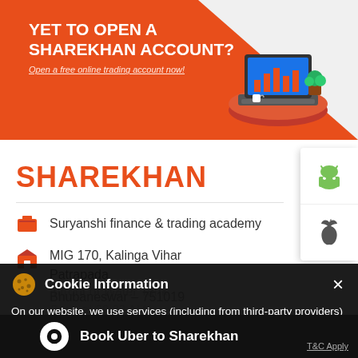[Figure (screenshot): Sharekhan orange banner advertising opening a free online trading account, with an illustration of a laptop and plant on a circular desk]
SHAREKHAN
Suryanshi finance & trading academy
MIG 170, Kalinga Vihar
Patrapada
Bhubaneswar – 751019
Infront of Water Tank
Open at 09:00 AM
Cookie Information
On our website, we use services (including from third-party providers) that help us to improve our online presence (optimization of website) and to display content that is geared to their interests. We need your consent before being able to use these services.
Book Uber to Sharekhan
T&C Apply